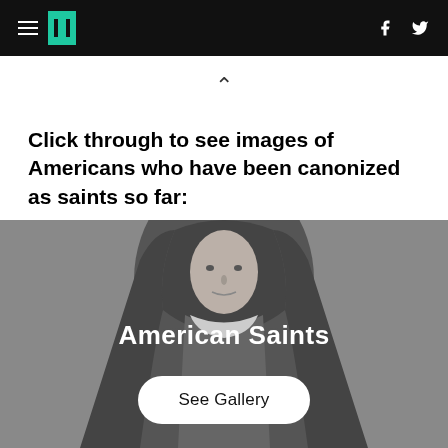HuffPost navigation header with hamburger menu, logo, Facebook and Twitter icons
Click through to see images of Americans who have been canonized as saints so far:
[Figure (photo): A grayscale photograph of a nun wearing a habit, with overlay text 'American Saints' and a 'See Gallery' button]
American Saints
See Gallery